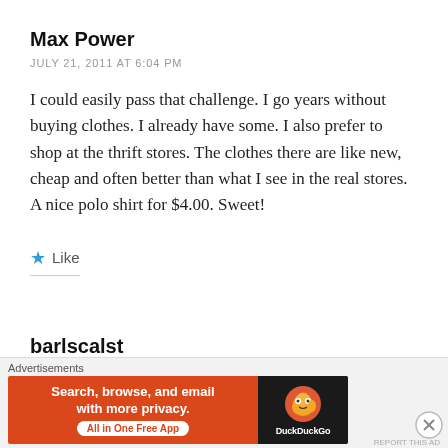Max Power
JULY 21, 2011 AT 6:04 PM
I could easily pass that challenge. I go years without buying clothes. I already have some. I also prefer to shop at the thrift stores. The clothes there are like new, cheap and often better than what I see in the real stores. A nice polo shirt for $4.00. Sweet!
Like
barlscalst
Advertisements
[Figure (other): DuckDuckGo advertisement banner: Search, browse, and email with more privacy. All in One Free App]